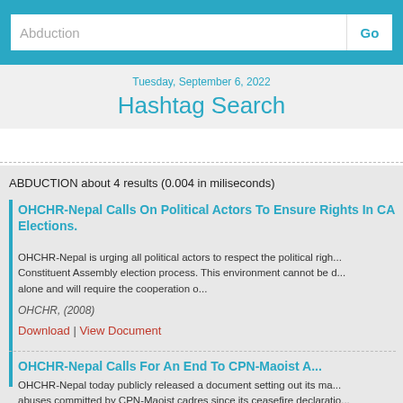Abduction | Go
Tuesday, September 6, 2022
Hashtag Search
ABDUCTION about 4 results (0.004 in miliseconds)
OHCHR-Nepal Calls On Political Actors To Ensure Rights In CA Elections.
OHCHR-Nepal is urging all political actors to respect the political righ... Constituent Assembly election process. This environment cannot be d... alone and will require the cooperation o...
OHCHR, (2008)
Download  |  View Document
OHCHR-Nepal Calls For An End To CPN-Maoist A...
OHCHR-Nepal today publicly released a document setting out its ma... abuses committed by CPN-Maoist cadres since its ceasefire declaratio...